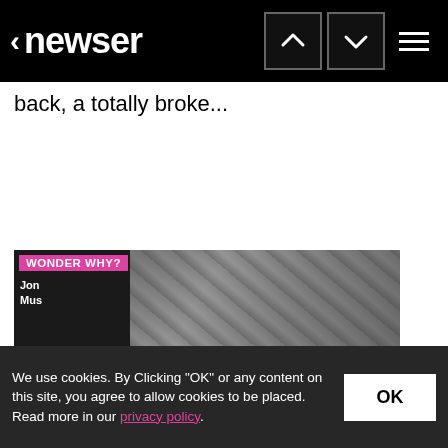newser
back, a totally broke...
[Figure (photo): WONDER WHY? promotional section with crowd photo and text mentioning Jon and Mus]
We use cookies. By Clicking "OK" or any content on this site, you agree to allow cookies to be placed. Read more in our privacy policy.